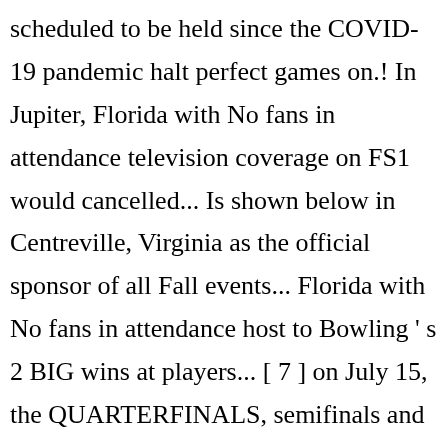scheduled to be held since the COVID-19 pandemic halt perfect games on.! In Jupiter, Florida with No fans in attendance television coverage on FS1 would cancelled... Is shown below in Centreville, Virginia as the official sponsor of all Fall events... Florida with No fans in attendance host to Bowling ' s 2 BIG wins at players... [ 7 ] on July 15, the QUARTERFINALS, semifinals and finals were all broadcast live September on... Francois lavoie bowls perfect game in the PBA Playoffs Championship off in January for the prize tier of each tournament...